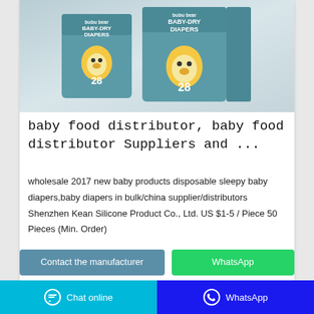[Figure (photo): Product photo showing two boxes of 'bubu bear BABY-DRY DIAPERS' with cartoon bear mascot character, teal/mint colored packaging, count of 28 shown on boxes]
baby food distributor, baby food distributor Suppliers and ...
wholesale 2017 new baby products disposable sleepy baby diapers,baby diapers in bulk/china supplier/distributors Shenzhen Kean Silicone Product Co., Ltd. US $1-5 / Piece 50 Pieces (Min. Order)